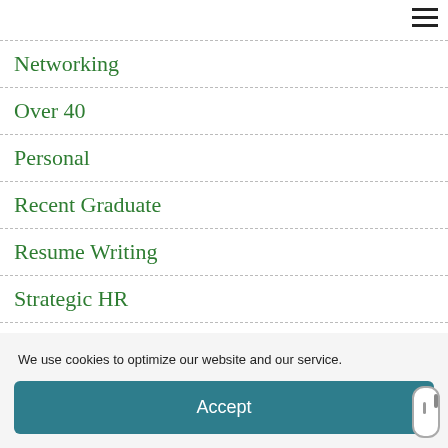Networking
Over 40
Personal
Recent Graduate
Resume Writing
Strategic HR
We use cookies to optimize our website and our service.
Accept